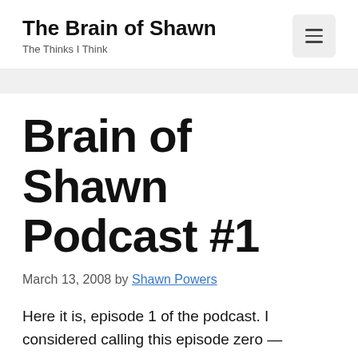The Brain of Shawn — The Thinks I Think
Brain of Shawn Podcast #1
March 13, 2008 by Shawn Powers
Here it is, episode 1 of the podcast. I considered calling this episode zero — because really there's very little content. Then I realized that if the expectation of real content is established, I might be in trouble